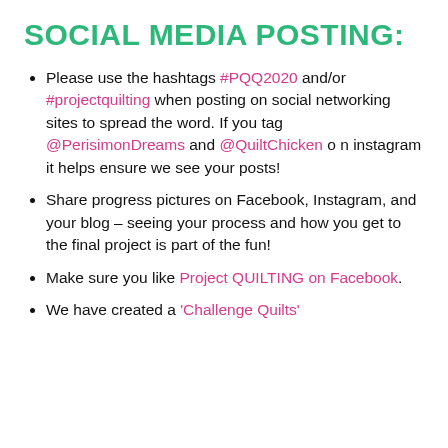SOCIAL MEDIA POSTING:
Please use the hashtags #PQQ2020 and/or #projectquilting when posting on social networking sites to spread the word. If you tag @PerisimonDreams and @QuiltChicken on instagram it helps ensure we see your posts!
Share progress pictures on Facebook, Instagram, and your blog – seeing your process and how you get to the final project is part of the fun!
Make sure you like Project QUILTING on Facebook.
We have created a 'Challenge Quilts'